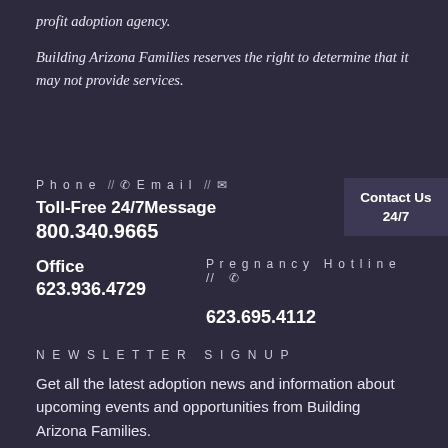profit adoption agency.
Building Arizona Families reserves the right to determine that it may not provide services.
Phone // Email //
Contact Us 24/7
Toll-Free 24/7Message
800.340.9665
Office
623.936.4729
Pregnancy Hotline //
623.695.4112
NEWSLETTER SIGNUP
Get all the latest adoption news and information about upcoming events and opportunities from Building Arizona Families.